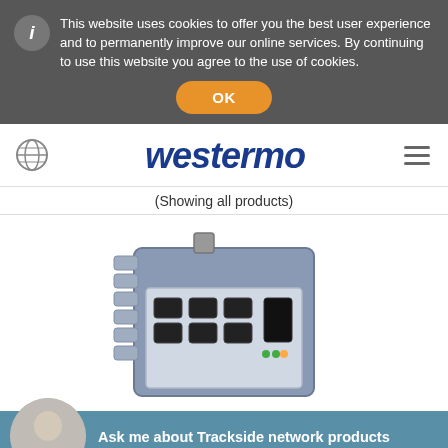This website uses cookies to offer you the best user experience and to permanently improve our online services. By continuing to use this website you agree to the use of cookies.
OK
[Figure (logo): Westermo company logo in dark blue bold italic text]
(Showing all products)
[Figure (photo): Westermo industrial network switch/router hardware device, grey metal enclosure with multiple ethernet ports and connectors]
Ask me about Trackside network products
Kenny Nania Sales, Westermo North America